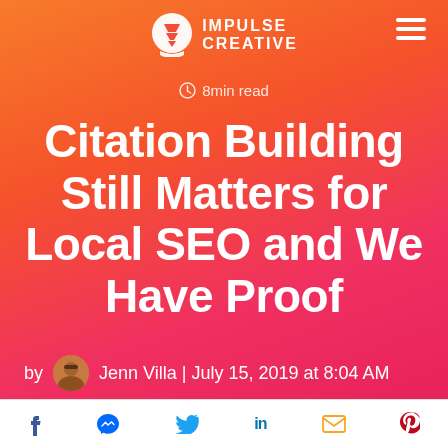IMPULSE CREATIVE
8min read
Citation Building Still Matters for Local SEO and We Have Proof
by Jenn Villa | July 15, 2019 at 8:04 AM
f [messenger] [twitter] in [mail] [pinterest]